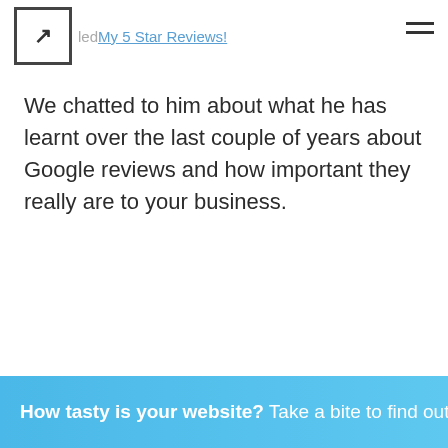led My 5 Star Reviews!
We chatted to him about what he has learnt over the last couple of years about Google reviews and how important they really are to your business.
How tasty is your website? Take a bite to find out